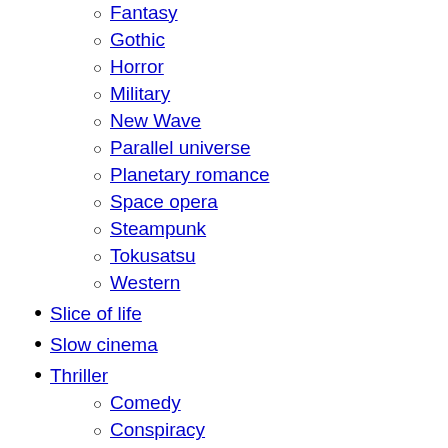Fantasy
Gothic
Horror
Military
New Wave
Parallel universe
Planetary romance
Space opera
Steampunk
Tokusatsu
Western
Slice of life
Slow cinema
Thriller
Comedy
Conspiracy
Erotic
Financial
Giallo
Legal
New French Extremity
Political
Psychological
Romantic
Techno